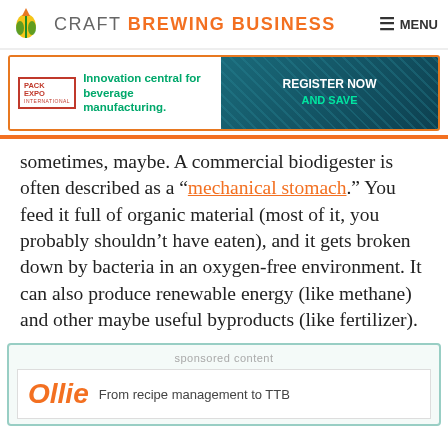CRAFT BREWING BUSINESS  MENU
[Figure (infographic): Pack Expo International advertisement banner: 'Innovation central for beverage manufacturing.' with 'REGISTER NOW AND SAVE' call to action on the right side with beverage bottles imagery.]
sometimes, maybe. A commercial biodigester is often described as a “mechanical stomach.” You feed it full of organic material (most of it, you probably shouldn’t have eaten), and it gets broken down by bacteria in an oxygen-free environment. It can also produce renewable energy (like methane) and other maybe useful byproducts (like fertilizer).
[Figure (infographic): Sponsored content box featuring Ollie logo and text 'From recipe management to TTB']